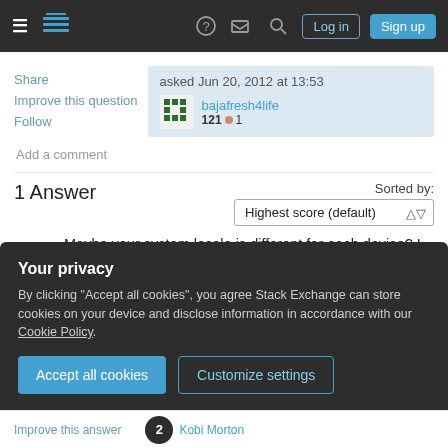Stack Exchange navigation bar with Log in and Sign up buttons
Share
Improve this question
Follow
asked Jun 20, 2012 at 13:53
bajafresh4life
121 ● 1
Add a comment
1 Answer
Sorted by: Highest score (default)
Maybe your system locale is different for each device? I had keyboard issues with nomachine and
Your privacy
By clicking "Accept all cookies", you agree Stack Exchange can store cookies on your device and disclose information in accordance with our Cookie Policy.
Accept all cookies
Customize settings
Improve this answer   Kobi Morton